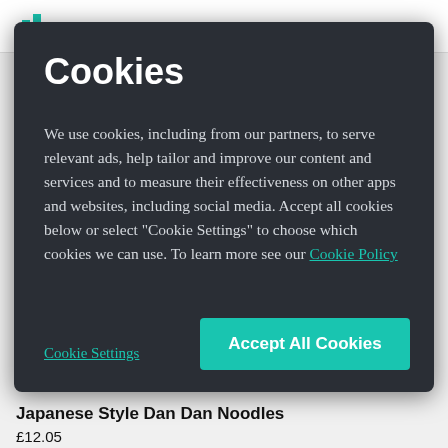[Figure (screenshot): Cookie consent modal dialog on a dark background (#2a2e35) overlaying a webpage]
Cookies
We use cookies, including from our partners, to serve relevant ads, help tailor and improve our content and services and to measure their effectiveness on other apps and websites, including social media. Accept all cookies below or select “Cookie Settings” to choose which cookies we can use. To learn more see our Cookie Policy
Cookie Settings
Accept All Cookies
Japanese Style Dan Dan Noodles
£12.05